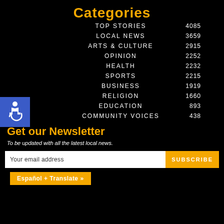Categories
| Category | Count |
| --- | --- |
| TOP STORIES | 4085 |
| LOCAL NEWS | 3659 |
| ARTS & CULTURE | 2915 |
| OPINION | 2252 |
| HEALTH | 2232 |
| SPORTS | 2215 |
| BUSINESS | 1919 |
| RELIGION | 1660 |
| EDUCATION | 893 |
| COMMUNITY VOICES | 438 |
[Figure (illustration): Accessibility wheelchair icon in blue square]
Get our Newsletter
To be updated with all the latest local news.
Your email address
SUBSCRIBE
Español + Translate »